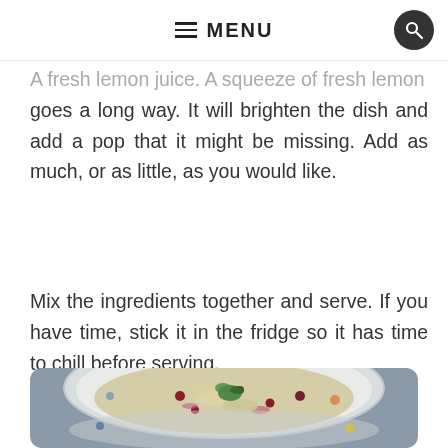MENU
goes a long way. It will brighten the dish and add a pop that it might be missing. Add as much, or as little, as you would like.
Mix the ingredients together and serve. If you have time, stick it in the fridge so it has time to chill before serving.
[Figure (photo): A bowl of chicken salad with cranberries and fresh herbs (parsley), served in a decorative bowl on a gray surface.]